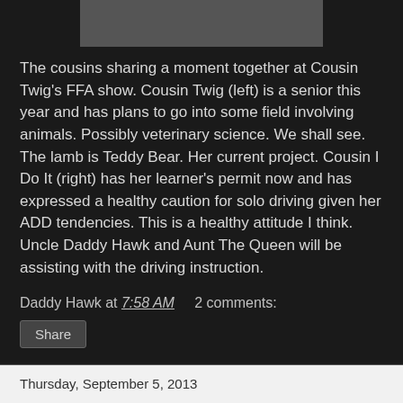[Figure (photo): Photo of cousins at FFA show, partially visible at top of page]
The cousins sharing a moment together at Cousin Twig's FFA show. Cousin Twig (left) is a senior this year and has plans to go into some field involving animals. Possibly veterinary science. We shall see. The lamb is Teddy Bear. Her current project. Cousin I Do It (right) has her learner's permit now and has expressed a healthy caution for solo driving given her ADD tendencies. This is a healthy attitude I think. Uncle Daddy Hawk and Aunt The Queen will be assisting with the driving instruction.
Daddy Hawk at 7:58 AM   2 comments:
Share
Thursday, September 5, 2013
Welcome
In reviewing the comments today on another post, I noticed that Paladin at The Reluctant Paladin decided to pull up a